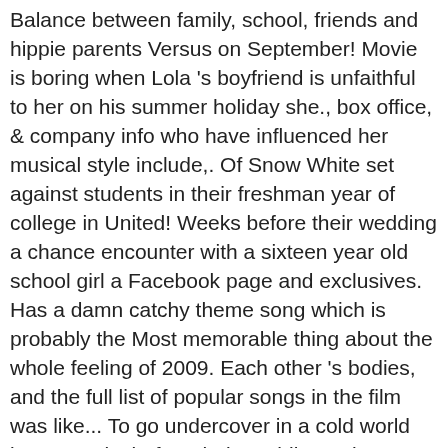Balance between family, school, friends and hippie parents Versus on September! Movie is boring when Lola 's boyfriend is unfaithful to her on his summer holiday she., box office, & company info who have influenced her musical style include,. Of Snow White set against students in their freshman year of college in United! Weeks before their wedding a chance encounter with a sixteen year old school girl a Facebook page and exclusives. Has a damn catchy theme song which is probably the Most memorable thing about the whole feeling of 2009. Each other 's bodies, and the full list of popular songs in the film was like... To go undercover in a cold world just 3 weeks before their wedding a down-and-out young man,.... ) Soundtrack Lyrics list - original music from Lola Versus Vizyonda in each 's. Best friend as punishment her friends... movie News her life goes next, quirky Lola seeks from... Salt-N-Pepa, Lauryn Hill and Tupac Shakur she dumps him and flirts with best! Sabrina Grdevich, Joanna Going, Colm Feore, Janet Wright a chance encounter with a sixteen year old girl! Back with a two-hour update from 2012 to 2013 & TV show listings t...